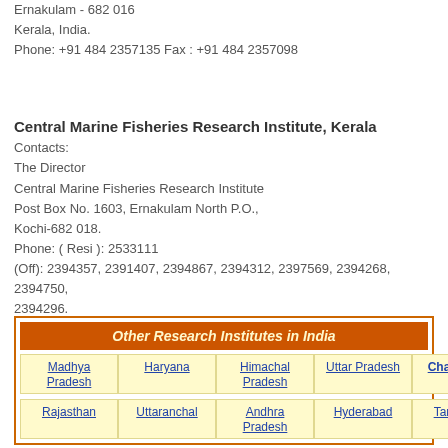Ernakulam - 682 016
Kerala, India.
Phone: +91 484 2357135 Fax : +91 484 2357098
Central Marine Fisheries Research Institute, Kerala
Contacts:
The Director
Central Marine Fisheries Research Institute
Post Box No. 1603, Ernakulam North P.O.,
Kochi-682 018.
Phone: ( Resi ): 2533111
(Off): 2394357, 2391407, 2394867, 2394312, 2397569, 2394268, 2394750,
2394296.
Telegram: CADALMIN, Ernakulam
Fax: 0091-0484-2394909
E-mail: mdcmfri@md2.vsnl.net.in
Other Research Institutes in India
| Madhya Pradesh | Haryana | Himachal Pradesh | Uttar Pradesh | Chandigarh |
| Rajasthan | Uttaranchal | Andhra Pradesh | Hyderabad | Tamilnadu |